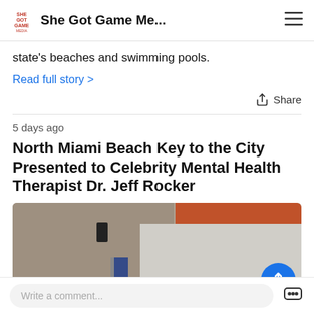She Got Game Me...
state's beaches and swimming pools.
Read full story >
Share
5 days ago
North Miami Beach Key to the City Presented to Celebrity Mental Health Therapist Dr. Jeff Rocker
[Figure (photo): Indoor venue photo showing an orange beam/truss structure, a wall-mounted light, and a blue flag, likely a ceremony or event setup.]